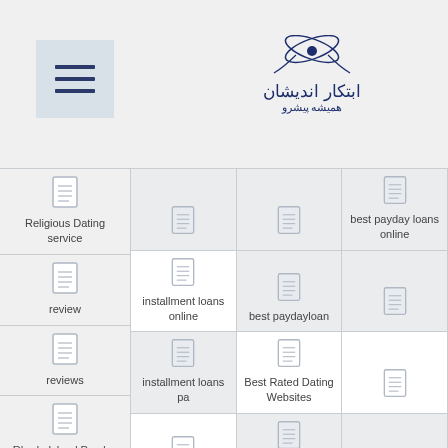[Figure (screenshot): Website navigation menu icon (hamburger) with three horizontal dark blue lines on a light blue-grey square background]
[Figure (logo): Persian/Arabic script logo in dark navy blue with decorative floral elements]
| Col1 | Col2 | Col3 |
| --- | --- | --- |
| Religious Dating service | installment loans online | best payday loans online |
| review | installment loans pa | best paydayloan |
| reviews | installment online loans | Best Rated Dating Websites |
| Rhode Island Payday Loans Online Same Day | installment title loans | best research paper writing service |